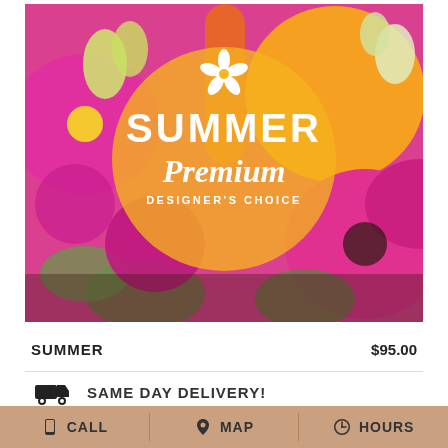[Figure (photo): Colorful summer flower bouquet with pink gerbera daisies, orange lilies, magenta/purple flowers, and greenery. A semi-transparent golden circle overlay in the center displays a white flower icon, the text SUMMER in large bold white letters, Premium in white italic script, and DESIGNER'S CHOICE in small white uppercase letters.]
SUMMER   $95.00
SAME DAY DELIVERY!
CALL   MAP   HOURS